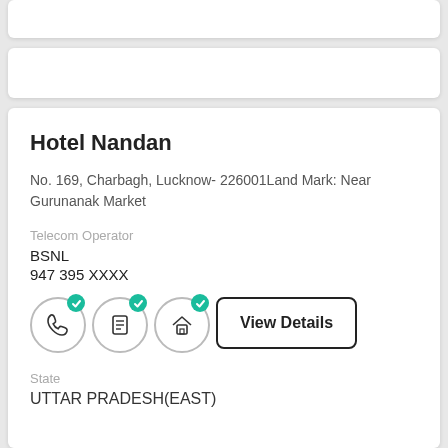Hotel Nandan
No. 169, Charbagh, Lucknow- 226001Land Mark: Near Gurunanak Market
Telecom Operator
BSNL
947 395 XXXX
[Figure (infographic): Three circular icon buttons (phone, document/list, house) each with a green checkmark badge, followed by a 'View Details' button]
State
UTTAR PRADESH(EAST)